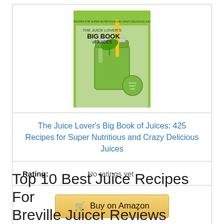[Figure (photo): Book cover of 'The Juice Lover's Big Book of Juices' showing a green mason jar with a straw and leaf, on a white background with green and black typography.]
The Juice Lover's Big Book of Juices: 425 Recipes for Super Nutritious and Crazy Delicious Juices
Rating: No ratings yet
Buy on Amazon
Top 10 Best Juice Recipes For Breville Juicer Reviews